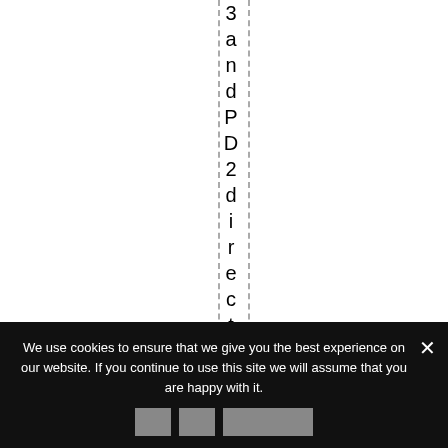3andPD2directplyconnect
We use cookies to ensure that we give you the best experience on our website. If you continue to use this site we will assume that you are happy with it.